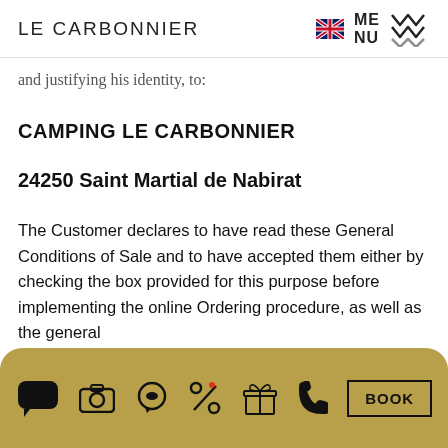LE CARBONNIER
and justifying his identity, to:
CAMPING LE CARBONNIER
24250 Saint Martial de Nabirat
The Customer declares to have read these General Conditions of Sale and to have accepted them either by checking the box provided for this purpose before implementing the online Ordering procedure, as well as the general